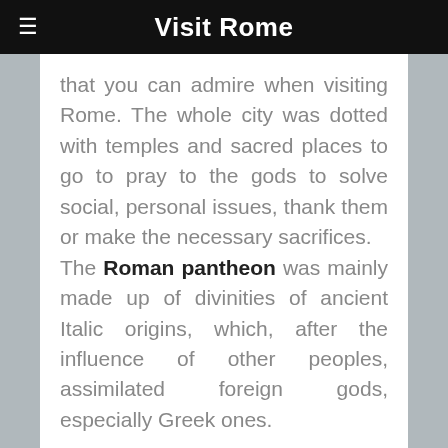Visit Rome
that you can admire when visiting Rome. The whole city was dotted with temples and sacred places to go to pray to the gods to solve social, personal issues, thank them or make the necessary sacrifices. The Roman pantheon was mainly made up of divinities of ancient Italic origins, which, after the influence of other peoples, assimilated foreign gods, especially Greek ones.
But how were these Roman